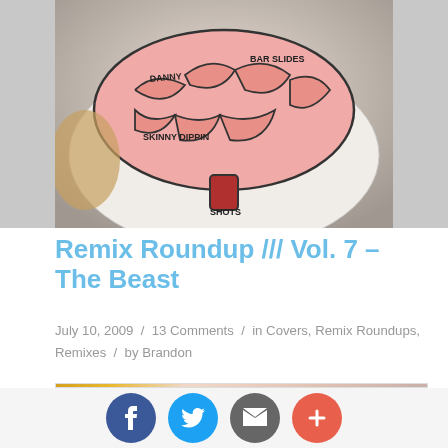[Figure (photo): Photo of a decorated white helmet/hat painted with a pink brain design, with text labels including 'SKINNY DIPPIN', 'BAR SLIDES', 'SHOTS' written on it]
Remix Roundup /// Vol. 7 – The Beast
July 10, 2009 / 13 Comments / in Covers, Remix Roundups, Remixes / by Brandon
[Figure (photo): Close-up photo of a painted pink brain decoration with text 'WILIN OUT', 'BEER' visible]
[Figure (other): Social sharing buttons: Facebook (blue), Twitter (light blue), Email (gray), Plus/More (orange-red)]